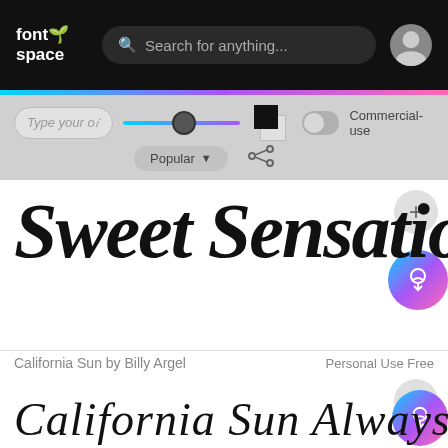fontspace — Search for anything...
[Figure (screenshot): FontSpace website UI with search bar, controls including text input, slider, color swatches, toggle for Commercial-use, Popular dropdown, and share icon]
Sweet Sensation
California Sun by Billy Argel   Personal Use Free
California Sun Always Awe